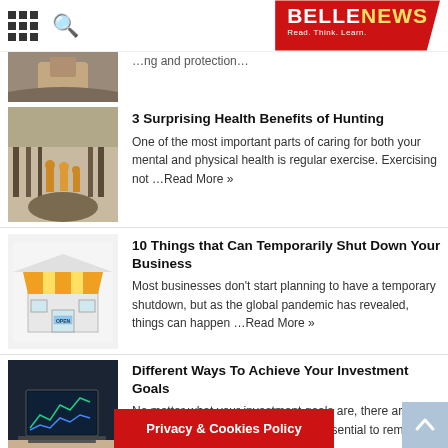BELLENEWS - Read. Think. Learn.
[Figure (photo): Partial article thumbnail at top - person with hands]
3 Surprising Health Benefits of Hunting
One of the most important parts of caring for both your mental and physical health is regular exercise. Exercising not ...Read More »
[Figure (photo): Hunters walking on a muddy forest path in winter]
10 Things that Can Temporarily Shut Down Your Business
Most businesses don't start planning to have a temporary shutdown, but as the global pandemic has revealed, things can happen ...Read More »
[Figure (illustration): Cartoon store front with orange awning and OPEN sign]
Different Ways To Achieve Your Investment Goals
No matter what your investment goals are, there are many different ways to achieve them. It's essential to remember that ...Read More »
[Figure (photo): Laptop showing financial charts on desk]
Privacy & Cookies Policy